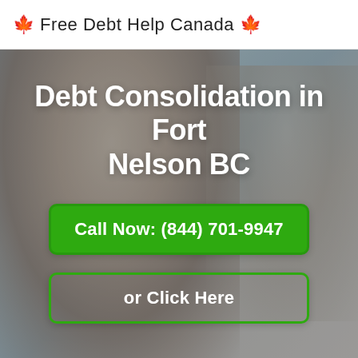🍁 Free Debt Help Canada 🍁
[Figure (photo): Background photo of smiling customer service representatives wearing headsets, blurred/soft focus]
Debt Consolidation in Fort Nelson BC
Call Now: (844) 701-9947
or Click Here